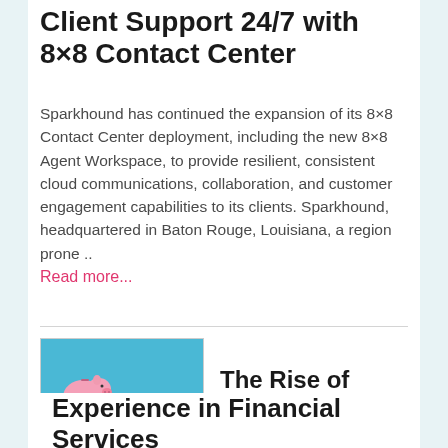Client Support 24/7 with 8×8 Contact Center
Sparkhound has continued the expansion of its 8×8 Contact Center deployment, including the new 8×8 Agent Workspace, to provide resilient, consistent cloud communications, collaboration, and customer engagement capabilities to its clients. Sparkhound, headquartered in Baton Rouge, Louisiana, a region prone .. Read more...
[Figure (photo): Two piggy banks on a seesaw/balance beam against a blue background. A larger pink piggy bank is elevated on one side and a smaller blue piggy bank sits lower on the other side.]
The Rise of Client Experience in Financial Services